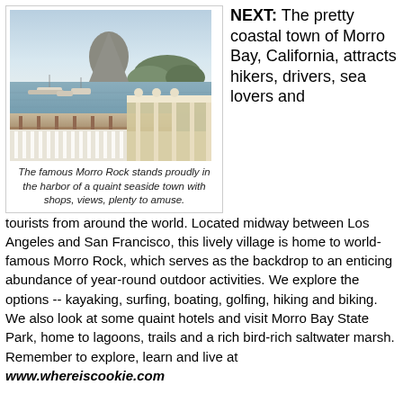[Figure (photo): Photo of Morro Bay harbor with Morro Rock visible in the background, boats in the water, and a white railing in the foreground]
The famous Morro Rock stands proudly in the harbor of a quaint seaside town with shops, views, plenty to amuse.
NEXT: The pretty coastal town of Morro Bay, California, attracts hikers, drivers, sea lovers and tourists from around the world. Located midway between Los Angeles and San Francisco, this lively village is home to world-famous Morro Rock, which serves as the backdrop to an enticing abundance of year-round outdoor activities. We explore the options -- kayaking, surfing, boating, golfing, hiking and biking. We also look at some quaint hotels and visit Morro Bay State Park, home to lagoons, trails and a rich bird-rich saltwater marsh. Remember to explore, learn and live at www.whereiscookie.com